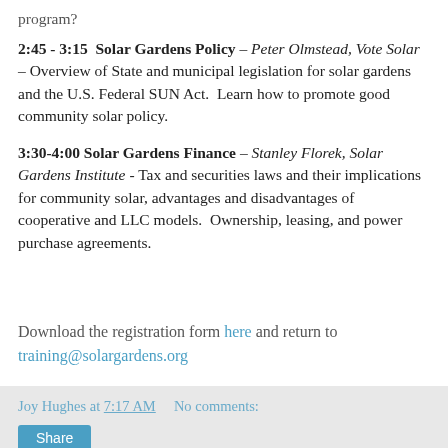program?
2:45 - 3:15  Solar Gardens Policy – Peter Olmstead, Vote Solar – Overview of State and municipal legislation for solar gardens and the U.S. Federal SUN Act.  Learn how to promote good community solar policy.
3:30-4:00 Solar Gardens Finance – Stanley Florek, Solar Gardens Institute - Tax and securities laws and their implications for community solar, advantages and disadvantages of cooperative and LLC models.  Ownership, leasing, and power purchase agreements.
Download the registration form here and return to training@solargardens.org
Joy Hughes at 7:17 AM    No comments:
Share